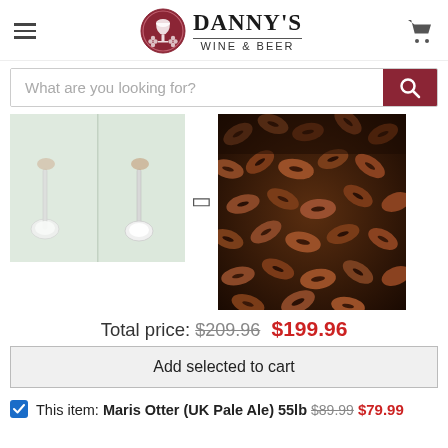Danny's Wine & Beer
[Figure (screenshot): Search bar with placeholder text 'What are you looking for?' and red search button]
[Figure (photo): Two spoons with white powder/sugar on a light background]
[Figure (photo): Close-up of dark roasted barley/malt grains]
Total price: $209.96 $199.96
Add selected to cart
This item: Maris Otter (UK Pale Ale) 55lb $89.99 $79.99